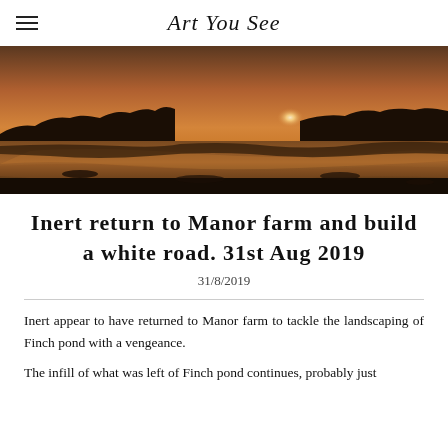Art You See
[Figure (photo): Wide panoramic sunset photo over a wetland or estuary with silhouetted treeline and reflective water. Orange and brown tones.]
Inert return to Manor farm and build a white road. 31st Aug 2019
31/8/2019
Inert appear to have returned to Manor farm to tackle the landscaping of Finch pond with a vengeance.
The infill of what was left of Finch pond continues, probably just